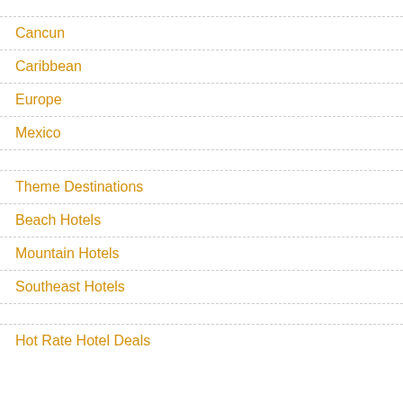Cancun
Caribbean
Europe
Mexico
Theme Destinations
Beach Hotels
Mountain Hotels
Southeast Hotels
Hot Rate Hotel Deals